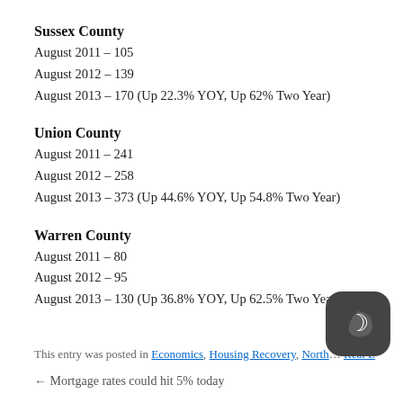Sussex County
August 2011 – 105
August 2012 – 139
August 2013 – 170 (Up 22.3% YOY, Up 62% Two Year)
Union County
August 2011 – 241
August 2012 – 258
August 2013 – 373 (Up 44.6% YOY, Up 54.8% Two Year)
Warren County
August 2011 – 80
August 2012 – 95
August 2013 – 130 (Up 36.8% YOY, Up 62.5% Two Year)
This entry was posted in Economics, Housing Recovery, North… Real E…
← Mortgage rates could hit 5% today